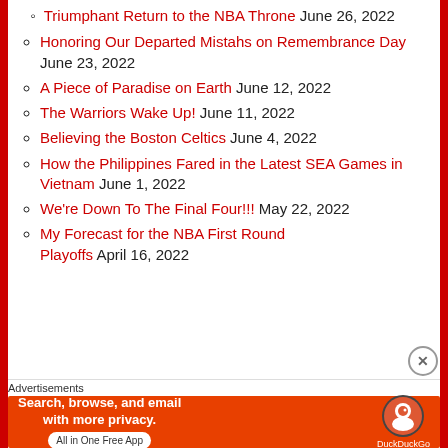Triumphant Return to the NBA Throne June 26, 2022
Honoring Our Departed Mistahs on Remembrance Day June 23, 2022
A Piece of Paradise on Earth June 12, 2022
The Warriors Wake Up! June 11, 2022
Believing the Boston Celtics June 4, 2022
How the Philippines Fared in the Latest SEA Games in Vietnam June 1, 2022
We're Down To The Final Four!!! May 22, 2022
My Forecast for the NBA First Round Playoffs April 16, 2022
[Figure (infographic): DuckDuckGo advertisement banner: Search, browse, and email with more privacy. All in One Free App. DuckDuckGo logo.]